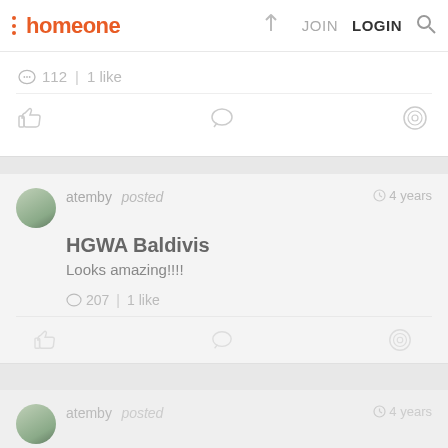homeone  JOIN  LOGIN
💬 112 | 1 like
atemby posted  4 years — HGWA Baldivis — Looks amazing!!!!
💬 207 | 1 like
atemby posted  4 years — NEW BUILD - HGWA SOUTHPORT — Got to sneak into the house yesterday, tiling finished. Taps and shower heads are in. Electrical finals have started. Free standing bath to main bathroom still to be put in....